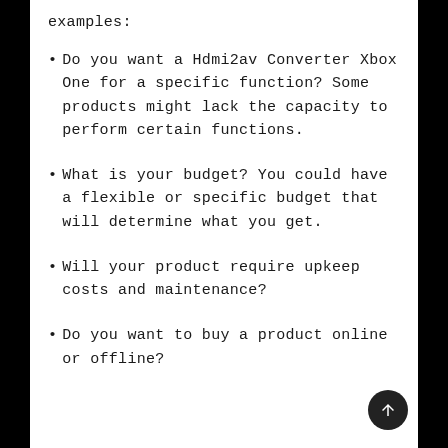examples:
Do you want a Hdmi2av Converter Xbox One for a specific function? Some products might lack the capacity to perform certain functions.
What is your budget? You could have a flexible or specific budget that will determine what you get.
Will your product require upkeep costs and maintenance?
Do you want to buy a product online or offline?